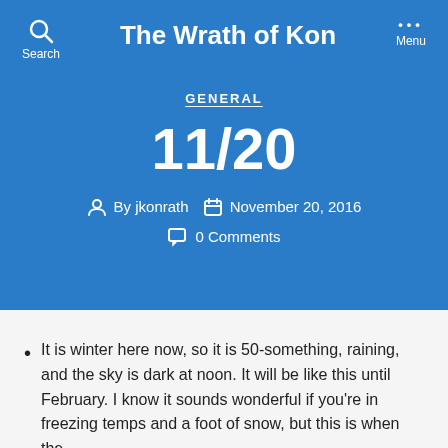The Wrath of Kon
GENERAL
11/20
By jkonrath   November 20, 2016   0 Comments
It is winter here now, so it is 50-something, raining, and the sky is dark at noon. It will be like this until February. I know it sounds wonderful if you’re in freezing temps and a foot of snow, but this is when the